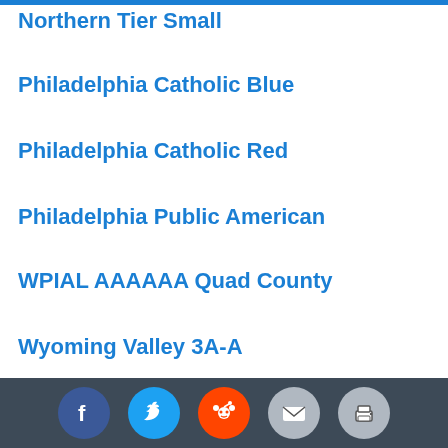Northern Tier Small
Philadelphia Catholic Blue
Philadelphia Catholic Red
Philadelphia Public American
WPIAL AAAAAA Quad County
Wyoming Valley 3A-A
Lancaster-Lebanon 3
Lancaster-Lebanon 4
Laurel Highlands
Mid-Penn Capital
Mid-Penn Colonial
Mid-Penn Commonwealth
Mid-Penn Crystal
Social share icons: Facebook, Twitter, Reddit, Email, Print